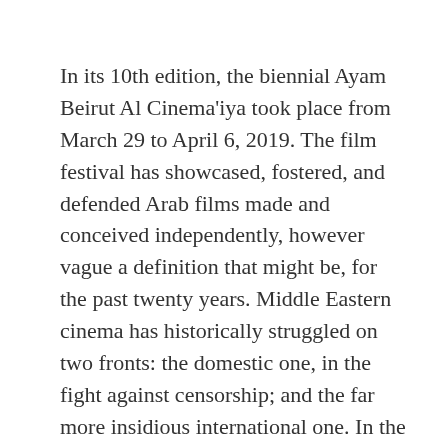In its 10th edition, the biennial Ayam Beirut Al Cinema'iya took place from March 29 to April 6, 2019. The film festival has showcased, fostered, and defended Arab films made and conceived independently, however vague a definition that might be, for the past twenty years. Middle Eastern cinema has historically struggled on two fronts: the domestic one, in the fight against censorship; and the far more insidious international one. In the artistic flight from poor or inexistent funding and distribution circuits that favor commercial cinema (from either Egypt or the US), Arab filmmakers in many cases